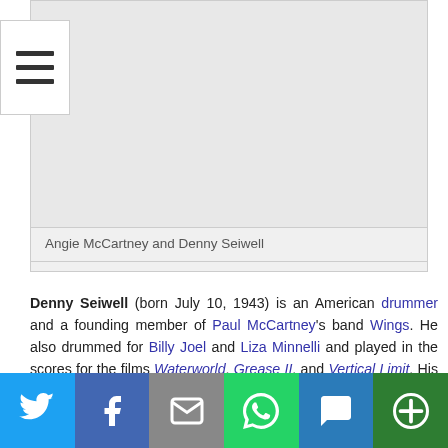[Figure (photo): Photo of Angie McCartney and Denny Seiwell]
Angie McCartney and Denny Seiwell
Denny Seiwell (born July 10, 1943) is an American drummer and a founding member of Paul McCartney's band Wings. He also drummed for Billy Joel and Liza Minnelli and played in the scores for the films Waterworld, Grease II, and Vertical Limit. His drumming was used in TV shows like Happy Days and Knots Landing.
Seiwell was born and raised in Lehighton, Pennsylvania, the son of
[Figure (screenshot): Social media share bar with Twitter, Facebook, Email, WhatsApp, SMS, and More buttons]